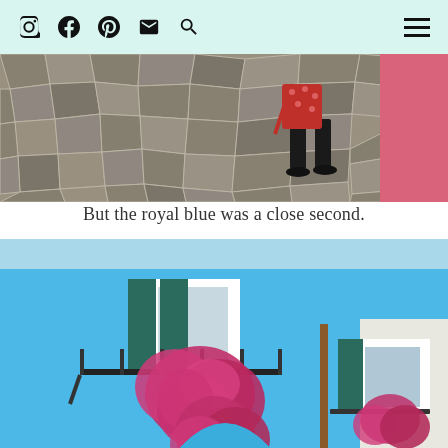Instagram Facebook Pinterest Email Search Menu
[Figure (photo): A person in a red polka-dot top and black pants walking on a cobblestone street, with a pink building on the right side.]
But the royal blue was a close second.
[Figure (photo): A bright royal blue building facade with dark green shuttered windows, decorative black iron balconies overflowing with vivid pink/magenta flowers, photographed from a low angle against a light blue sky.]